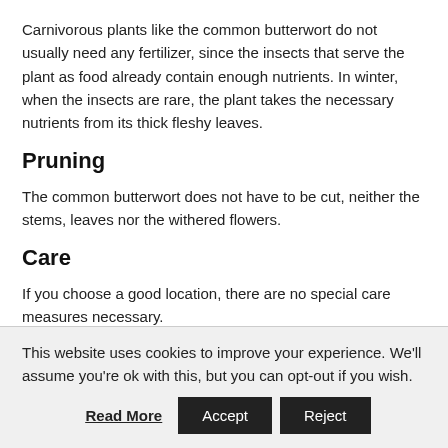Carnivorous plants like the common butterwort do not usually need any fertilizer, since the insects that serve the plant as food already contain enough nutrients. In winter, when the insects are rare, the plant takes the necessary nutrients from its thick fleshy leaves.
Pruning
The common butterwort does not have to be cut, neither the stems, leaves nor the withered flowers.
Care
If you choose a good location, there are no special care measures necessary.
This website uses cookies to improve your experience. We'll assume you're ok with this, but you can opt-out if you wish.
Read More | Accept | Reject